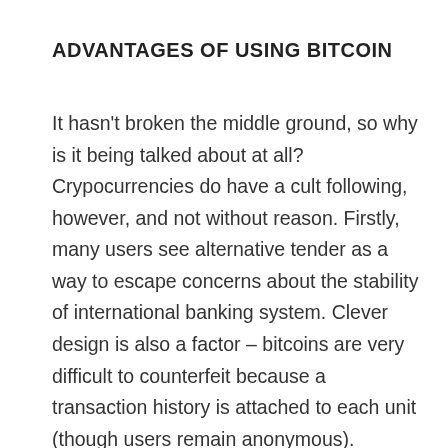ADVANTAGES OF USING BITCOIN
It hasn't broken the middle ground, so why is it being talked about at all? Crypocurrencies do have a cult following, however, and not without reason. Firstly, many users see alternative tender as a way to escape concerns about the stability of international banking system. Clever design is also a factor – bitcoins are very difficult to counterfeit because a transaction history is attached to each unit (though users remain anonymous). Moreover, Bitcoin works on a peer-to-peer basis, meaning that governments aren't able to interfere in buying